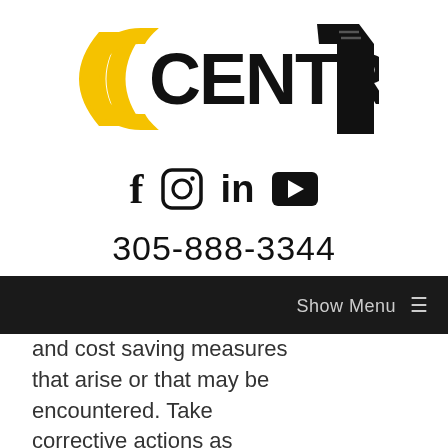[Figure (logo): Central 1 company logo with yellow swoosh and bold black text reading CENTRAL with a stylized number 1]
[Figure (infographic): Social media icons: Facebook (f), Instagram (camera in circle), LinkedIn (in), YouTube (play button in rounded rectangle)]
305-888-3344
Show Menu ≡
and cost saving measures that arise or that may be encountered. Take corrective actions as needed.
Inspect subordinate's work for compliance with the